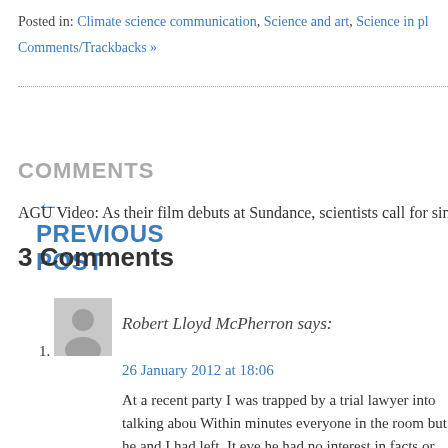Posted in: Climate science communication, Science and art, Science in pl...
Comments/Trackbacks »
← PREVIOUS POST
COMMENTS
AGU Video: As their film debuts at Sundance, scientists call for simple...
3 Comments
1. Robert Lloyd McPherron says:
26 January 2012 at 18:06
At a recent party I was trapped by a trial lawyer into talking abou... Within minutes everyone in the room but he and I had left. It eve... he had no interest in facts or explanations. Instead his questions... doubt to the minds of a "jury. "How do you know…"; "What is the... such changes ever occurred in the past history of the Earth? "A... explanations?" I was soon enmeshed in long, tortuous explanati... knowledge I did not have and he and the jury could not have un... scientists are unprepared for such conversations and unlikely t...